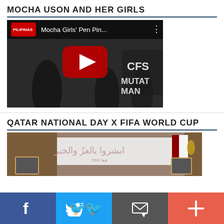MOCHA USON AND HER GIRLS
[Figure (screenshot): YouTube video thumbnail showing 'Mocha Girls Pen Pin...' video with a dark stage background and YouTube play button overlay]
QATAR NATIONAL DAY X FIFA WORLD CUP
[Figure (photo): Photo showing a Qatar National Day event with Arabic calligraphy banner and Qatar flag]
[Figure (infographic): Bottom social sharing bar with Facebook, Twitter, Email, and More (+) buttons]